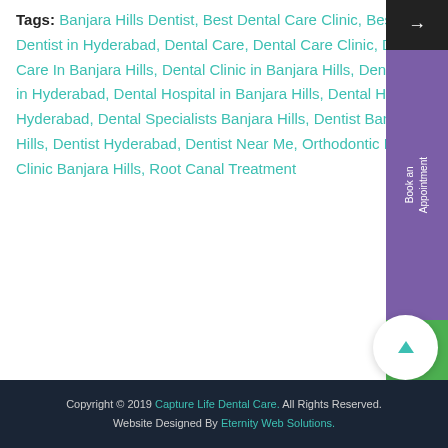Tags: Banjara Hills Dentist, Best Dental Care Clinic, Best Dentist in Hyderabad, Dental Care, Dental Care Clinic, Dental Care In Banjara Hills, Dental Clinic in Banjara Hills, Dental Clinic in Hyderabad, Dental Hospital in Banjara Hills, Dental Hospital in Hyderabad, Dental Specialists Banjara Hills, Dentist Banjara Hills, Dentist Hyderabad, Dentist Near Me, Orthodontic Dental Clinic Banjara Hills, Root Canal Treatment
Copyright © 2019 Capture Life Dental Care. All Rights Reserved. Website Designed By Eternity Web Solutions.